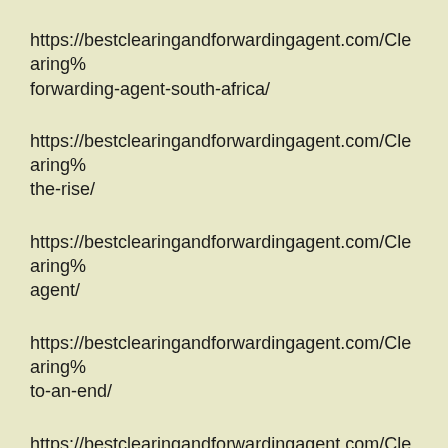https://bestclearingandforwardingagent.com/Clearing%... forwarding-agent-south-africa/
https://bestclearingandforwardingagent.com/Clearing%... the-rise/
https://bestclearingandforwardingagent.com/Clearing%... agent/
https://bestclearingandforwardingagent.com/Clearing%... to-an-end/
https://bestclearingandforwardingagent.com/Clearing%...
https://bestclearingandforwardingagent.com/Clearing%...